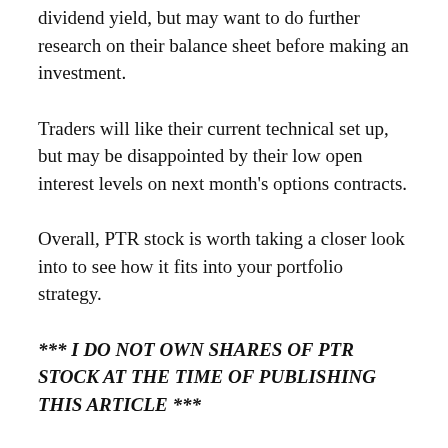dividend yield, but may want to do further research on their balance sheet before making an investment.
Traders will like their current technical set up, but may be disappointed by their low open interest levels on next month's options contracts.
Overall, PTR stock is worth taking a closer look into to see how it fits into your portfolio strategy.
*** I DO NOT OWN SHARES OF PTR STOCK AT THE TIME OF PUBLISHING THIS ARTICLE ***